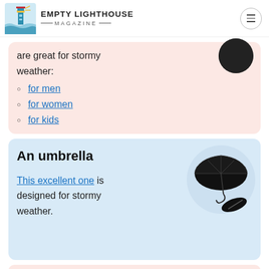EMPTY LIGHTHOUSE MAGAZINE
are great for stormy weather:
for men
for women
for kids
An umbrella
This excellent one is designed for stormy weather.